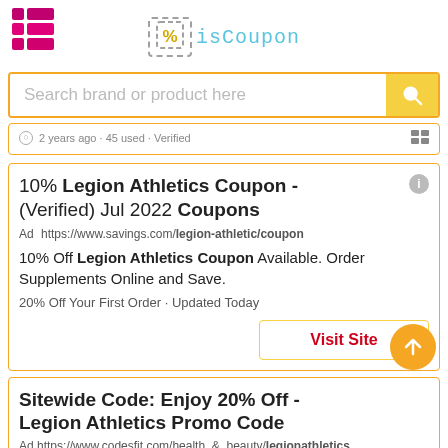[Figure (logo): isCoupon logo with grid icon on left and percent sign in dashed box with brand name in teal monospace font]
Search brand or product here
2 years ago · 45 used · Verified
10% Legion Athletics Coupon - (Verified) Jul 2022 Coupons
Ad https://www.savings.com/legion-athletic/coupon
10% Off Legion Athletics Coupon Available. Order Supplements Online and Save.
20% Off Your First Order · Updated Today
Visit Site
Sitewide Code: Enjoy 20% Off - Legion Athletics Promo Code
Ad https://www.codesfit.com/health_&_beauty/legionathletics